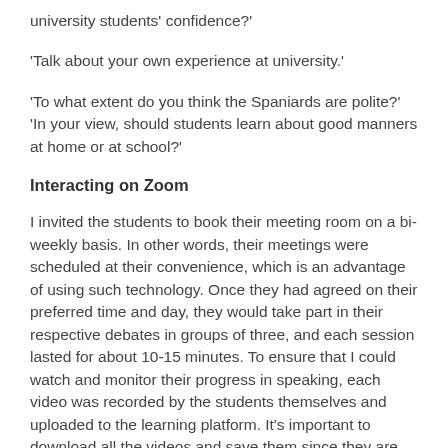university students' confidence?'
'Talk about your own experience at university.'
'To what extent do you think the Spaniards are polite?' 'In your view, should students learn about good manners at home or at school?'
Interacting on Zoom
I invited the students to book their meeting room on a bi-weekly basis. In other words, their meetings were scheduled at their convenience, which is an advantage of using such technology. Once they had agreed on their preferred time and day, they would take part in their respective debates in groups of three, and each session lasted for about 10-15 minutes. To ensure that I could watch and monitor their progress in speaking, each video was recorded by the students themselves and uploaded to the learning platform. It's important to download all the videos and save them since they are not permanently stored on Zoom. An example of this is